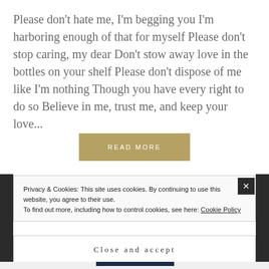Please don't hate me, I'm begging you I'm harboring enough of that for myself Please don't stop caring, my dear Don't stow away love in the bottles on your shelf Please don't dispose of me like I'm nothing Though you have every right to do so Believe in me, trust me, and keep your love...
READ MORE
Privacy & Cookies: This site uses cookies. By continuing to use this website, you agree to their use.
To find out more, including how to control cookies, see here: Cookie Policy
Close and accept